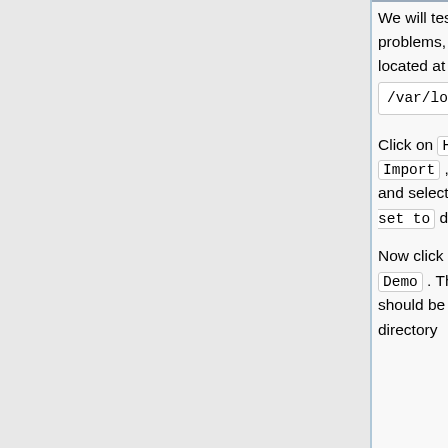We will test out a few important parts of WeBWorK. If you run into problems, you should look at the Apache error log which is located at /var/log/apache2/error.log .
Click on Hmwk Sets Editor on the Main Menu . Then select Import , select setDemo.def from the from drop down list and select all current users from the assigning this set to drop down list. Then hit Take Action!
Now click on Homework Sets on the Main Menu and click on Demo . Then look at the problems. Mathematical equations should be typeset. If not, edit the file Constants.pm in the directory